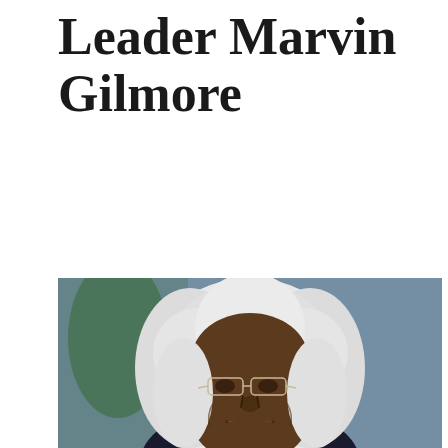Leader Marvin Gilmore
🏠  News and Events  |  News
[Figure (photo): Portrait photo of Marvin Gilmore, an elderly Black man with white hair and glasses, smiling warmly. He is wearing a dark jacket and is photographed against a blurred background with green and blue elements.]